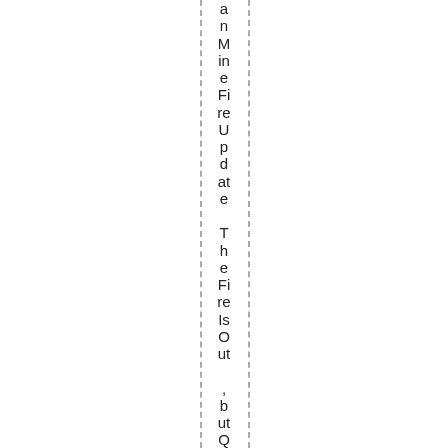an Mine Fire Update The Fire Is Out, but Questions